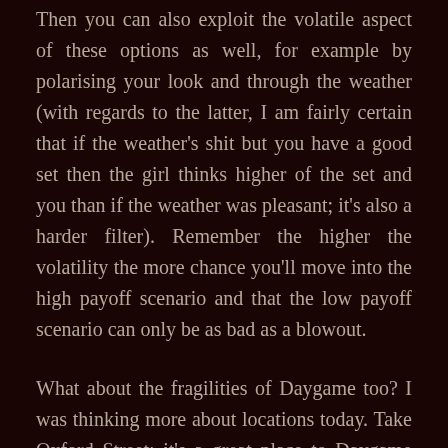Then you can also exploit the volatile aspect of these options as well, for example by polarising your look and through the weather (with regards to the latter, I am fairly certain that if the weather's shit but you have a good set then the girl thinks higher of the set and you than if the weather was pleasant; it's also a harder filter). Remember the higher the volatility the more chance you'll move into the high payoff scenario and that the low payoff scenario can only be as bad as a blowout.
What about the fragilities of Daygame too? I was thinking more about locations today. Take Oxford Street: it's a great place to Daygame with the highest footfall of a typical Daygamer's